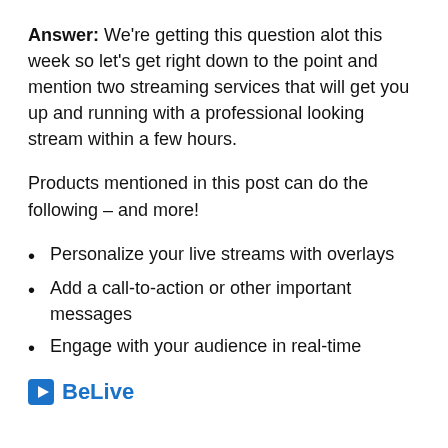Answer: We're getting this question alot this week so let's get right down to the point and mention two streaming services that will get you up and running with a professional looking stream within a few hours.
Products mentioned in this post can do the following – and more!
Personalize your live streams with overlays
Add a call-to-action or other important messages
Engage with your audience in real-time
BeLive